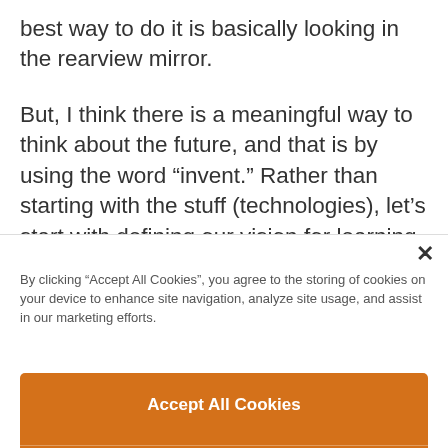best way to do it is basically looking in the rearview mirror.
But, I think there is a meaningful way to think about the future, and that is by using the word “invent.” Rather than starting with the stuff (technologies), let’s start with defining our vision for learning. The fundamental question is: What should learning look
By clicking “Accept All Cookies”, you agree to the storing of cookies on your device to enhance site navigation, analyze site usage, and assist in our marketing efforts.
Accept All Cookies
Reject All
Cookies Settings